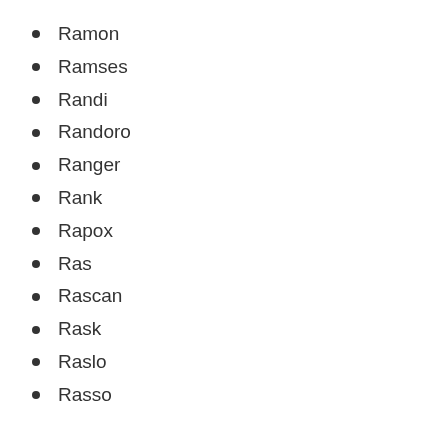Ramon
Ramses
Randi
Randoro
Ranger
Rank
Rapox
Ras
Rascan
Rask
Raslo
Rasso